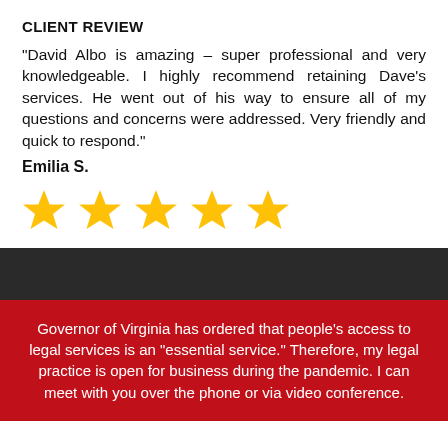CLIENT REVIEW
“David Albo is amazing – super professional and very knowledgeable. I highly recommend retaining Dave’s services. He went out of his way to ensure all of my questions and concerns were addressed. Very friendly and quick to respond.”
Emilia S.
[Figure (other): Five gold star rating icons]
Governor of Virginia has ordered that people’s access to legal services is an “essential service.” Therefore, my legal practice is open for business during the pandemic. I can meet with you over the phone or via video conference.